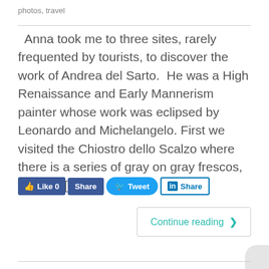photos, travel
Anna took me to three sites, rarely frequented by tourists, to discover the work of Andrea del Sarto.  He was a High Renaissance and Early Mannerism painter whose work was eclipsed by Leonardo and Michelangelo. First we visited the Chiostro dello Scalzo where there is a series of gray on gray frescos, (style is […]